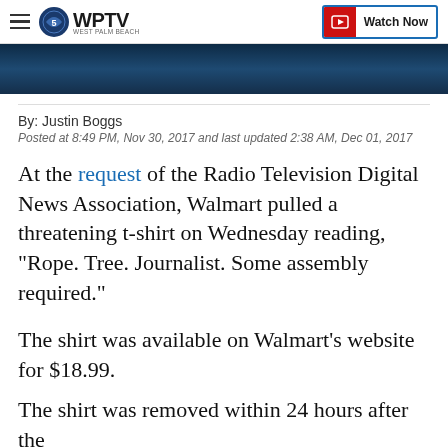WPTV West Palm Beach — Watch Now
[Figure (photo): Dark blue-toned photo strip, partially visible at top of page]
By: Justin Boggs
Posted at 8:49 PM, Nov 30, 2017 and last updated 2:38 AM, Dec 01, 2017
At the request of the Radio Television Digital News Association, Walmart pulled a threatening t-shirt on Wednesday reading, "Rope. Tree. Journalist. Some assembly required."
The shirt was available on Walmart's website for $18.99.
The shirt was removed within 24 hours after the